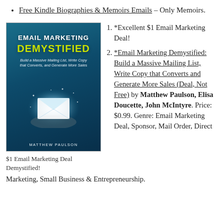Free Kindle Biographies & Memoirs Emails – Only Memoirs.
[Figure (photo): Book cover for 'Email Marketing Demystified' by Matthew Paulson, showing a person holding a glowing envelope, with teal/dark blue background and yellow-green title text.]
$1 Email Marketing Deal Demystified!
1. *Excellent $1 Email Marketing Deal!
2. *Email Marketing Demystified: Build a Massive Mailing List, Write Copy that Converts and Generate More Sales (Deal, Not Free) by Matthew Paulson, Elisa Doucette, John McIntyre. Price: $0.99. Genre: Email Marketing Deal, Sponsor, Mail Order, Direct
Marketing, Small Business & Entrepreneurship.